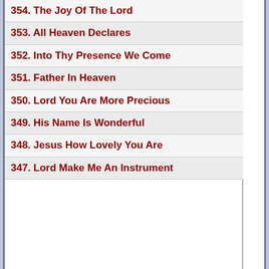354. The Joy Of The Lord
353. All Heaven Declares
352. Into Thy Presence We Come
351. Father In Heaven
350. Lord You Are More Precious
349. His Name Is Wonderful
348. Jesus How Lovely You Are
347. Lord Make Me An Instrument